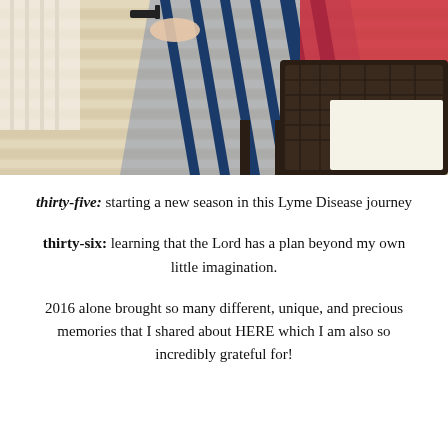[Figure (photo): A woman in a red top and striped skirt sitting on a porch/balcony near dark wicker furniture, shot from above showing her legs and a wooden deck floor.]
thirty-five: starting a new season in this Lyme Disease journey
thirty-six: learning that the Lord has a plan beyond my own little imagination.
2016 alone brought so many different, unique, and precious memories that I shared about HERE which I am also so incredibly grateful for!